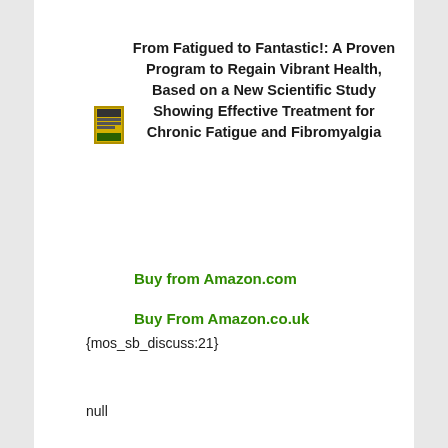From Fatigued to Fantastic!: A Proven Program to Regain Vibrant Health, Based on a New Scientific Study Showing Effective Treatment for Chronic Fatigue and Fibromyalgia
Buy from Amazon.com
Buy From Amazon.co.uk
{mos_sb_discuss:21}
null